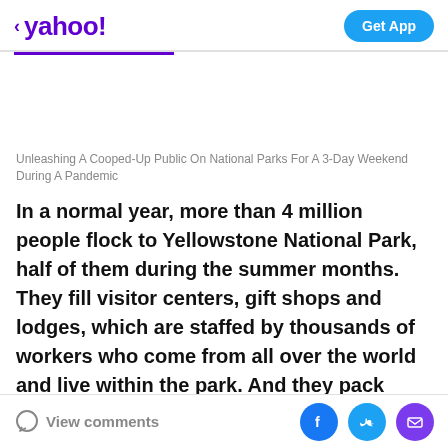< yahoo!   Get App
Unleashing A Cooped-Up Public On National Parks For A 3-Day Weekend During A Pandemic
In a normal year, more than 4 million people flock to Yellowstone National Park, half of them during the summer months. They fill visitor centers, gift shops and lodges, which are staffed by thousands of workers who come from all over the world and live within the park. And they pack boardwalks to gaze at Old Faithful, one of
View comments